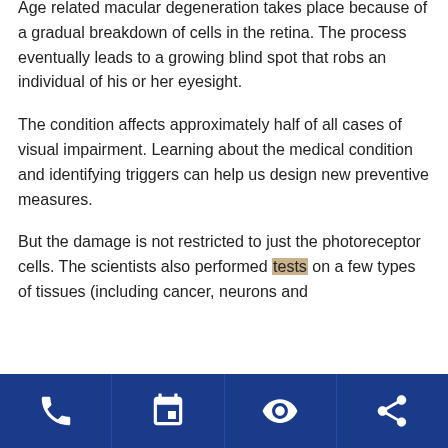Age related macular degeneration takes place because of a gradual breakdown of cells in the retina. The process eventually leads to a growing blind spot that robs an individual of his or her eyesight.
The condition affects approximately half of all cases of visual impairment. Learning about the medical condition and identifying triggers can help us design new preventive measures.
But the damage is not restricted to just the photoreceptor cells. The scientists also performed tests on a few types of tissues (including cancer, neurons and
[Figure (infographic): Blue footer navigation bar with four white icons: phone, calendar/grid, eye, and share]